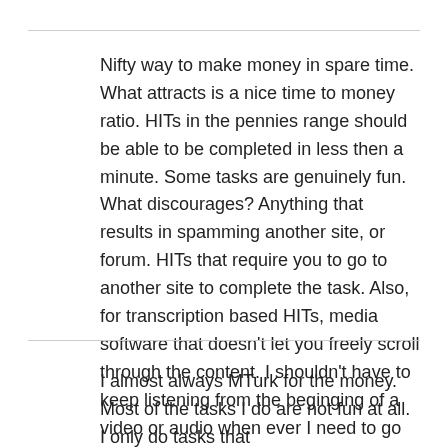Nifty way to make money in spare time. What attracts is a nice time to money ratio. HITs in the pennies range should be able to be completed in less then a minute. Some tasks are genuinely fun. What discourages? Anything that results in spamming another site, or forum. HITs that require you to go to another site to complete the task. Also, for transcription based HITs, media software that doesn't let you freely scroll through the content. I shouldn't have to keep listening from the beginging of a video or audio when ever I need to go backwards.
I almost always MTurk for the money. Most of the tasks I do are not fun at all. I only do tasks that